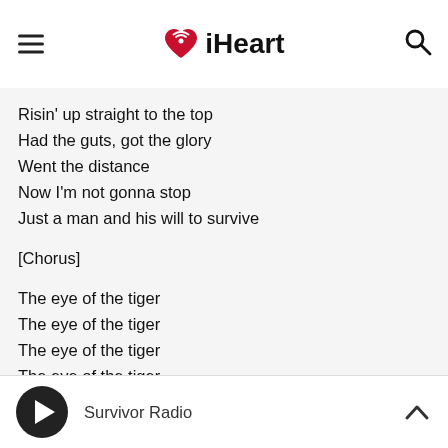iHeart
Risin' up straight to the top
Had the guts, got the glory
Went the distance
Now I'm not gonna stop
Just a man and his will to survive
[Chorus]
The eye of the tiger
The eye of the tiger
The eye of the tiger
The eye of the tiger
Written by PETERIK, JAMES MICHAEL / SULLIVAN, FRANKIE M., III
Survivor Radio